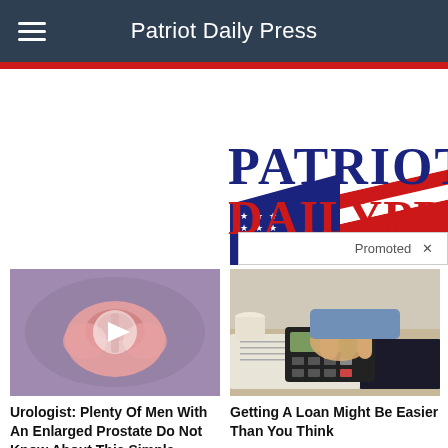Patriot Daily Press
[Figure (logo): Patriot Daily Press logo with American flag graphic, text 'PATRIOT DAILY PRESS' in navy and red with stars and stripes]
Promoted X
[Figure (photo): Medical illustration of prostate anatomy with video play button overlay]
Urologist: Plenty Of Men With An Enlarged Prostate Do Not Know About This Simple Solution
🔥 1,387
[Figure (photo): Person typing on calculator at desk with papers and notepad]
Getting A Loan Might Be Easier Than You Think